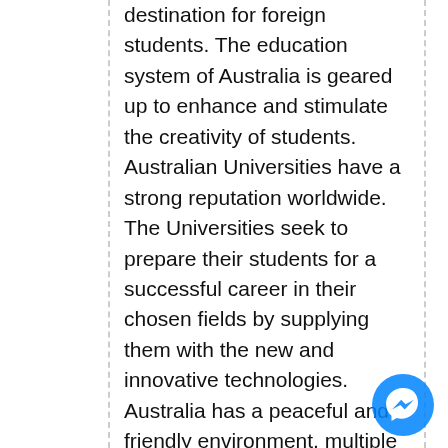destination for foreign students. The education system of Australia is geared up to enhance and stimulate the creativity of students. Australian Universities have a strong reputation worldwide. The Universities seek to prepare their students for a successful career in their chosen fields by supplying them with the new and innovative technologies. Australia has a peaceful and friendly environment, multiple cultural diversities, updated courses, good teaching techniques along with practical-based knowledge. Australian Universities help in promoting the student's creativity in different researches. Moreover, Australia is ranked in the top 15 among the safest countries in the world. In addition to this, Australia has lower living costs as compared to the other countries. The Australian Government has laid out Education Service for Overseas Students (ESOS) laws for all international students to have a safe, enjoyable and rewarding time in Australia. These laws are